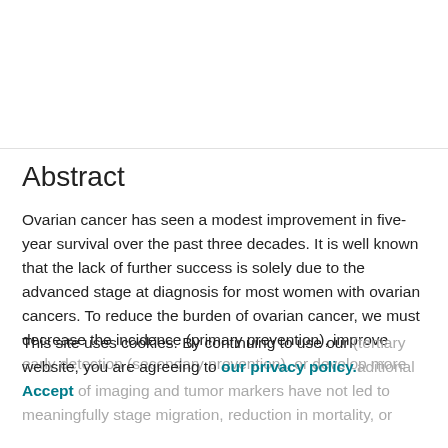Abstract
Ovarian cancer has seen a modest improvement in five-year survival over the past three decades. It is well known that the lack of further success is solely due to the advanced stage at diagnosis for most women with ovarian cancers. To reduce the burden of ovarian cancer, we must decrease the incidence (primary prevention), improve early detection (secondary prevention), or develop more effective treatments (tertiary prevention). Additional advances of imaging and tumor markers have not led to meaningfully stage migration, reduction in mortality, or
This site uses cookies. By continuing to use our website, you are agreeing to our privacy policy. Accept